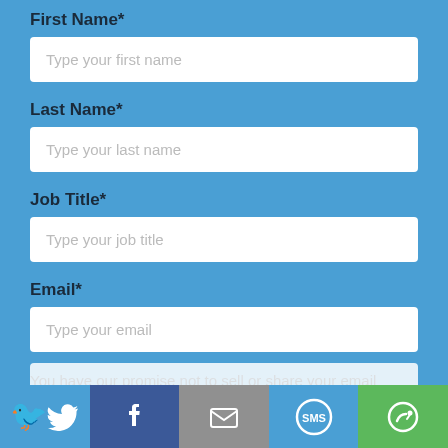First Name*
[Figure (screenshot): Text input field with placeholder 'Type your first name']
Last Name*
[Figure (screenshot): Text input field with placeholder 'Type your last name']
Job Title*
[Figure (screenshot): Text input field with placeholder 'Type your job title']
Email*
[Figure (screenshot): Text input field with placeholder 'Type your email']
You have our promise not to sell or share your email address—ever!
[Figure (infographic): Social sharing bar with Twitter, Facebook, Email, SMS, and Scribd buttons]